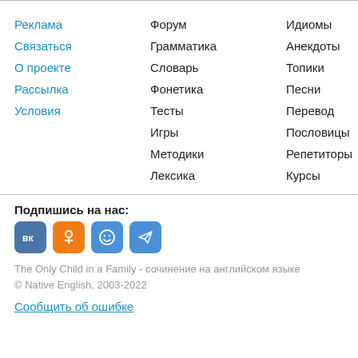Реклама | Форум | Идиомы
Связаться | Грамматика | Анекдоты
О проекте | Словарь | Топики
Рассылка | Фонетика | Песни
Условия | Тесты | Перевод
Игры | Пословицы
Методики | Репетиторы
Лексика | Курсы
Подпишись на нас:
[Figure (infographic): Social media icons: VK (blue), OK (orange), smiley/Facebook (blue), Telegram (blue)]
The Only Child in a Family - сочинение на английском языке
© Native English, 2003-2022
Сообщить об ошибке